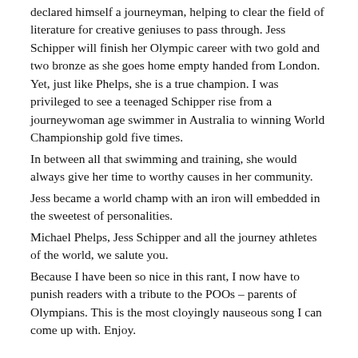declared himself a journeyman, helping to clear the field of literature for creative geniuses to pass through. Jess Schipper will finish her Olympic career with two gold and two bronze as she goes home empty handed from London. Yet, just like Phelps, she is a true champion. I was privileged to see a teenaged Schipper rise from a journeywoman age swimmer in Australia to winning World Championship gold five times.
	In between all that swimming and training, she would always give her time to worthy causes in her community.
	Jess became a world champ with an iron will embedded in the sweetest of personalities.
	Michael Phelps, Jess Schipper and all the journey athletes of the world, we salute you.
	Because I have been so nice in this rant, I now have to punish readers with a tribute to the POOs – parents of Olympians. This is the most cloyingly nauseous song I can come up with. Enjoy.
Bernie Dowling, August 1, 2012